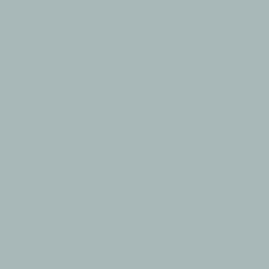[Figure (illustration): Green swirl avatar thumbnail]
Is there a category for novice...if so i still might have a shot w
Posted by: Tony Duncan | Septemb
[Figure (photo): Cars parked under bright light, aerial view thumbnail]
An adequate Award would be... Wellnescenter, located some... by small tamed Knut-bears, w... futuristic collapse of their form...

Would be some baluba:0)!

Oberon might be able to be f... Oslo...

Bob Wallace: Not only the Ar... have taken place in Norway, ... 1966. Until then Norway was ... outstanding combination BTW
Posted by: Christoffer Ladstein | S
The comments to this entry are closed.